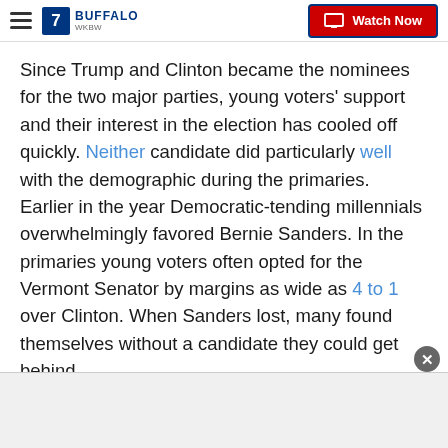7 WKBW Buffalo — Watch Now
Since Trump and Clinton became the nominees for the two major parties, young voters' support and their interest in the election has cooled off quickly. Neither candidate did particularly well with the demographic during the primaries. Earlier in the year Democratic-tending millennials overwhelmingly favored Bernie Sanders. In the primaries young voters often opted for the Vermont Senator by margins as wide as 4 to 1 over Clinton. When Sanders lost, many found themselves without a candidate they could get behind